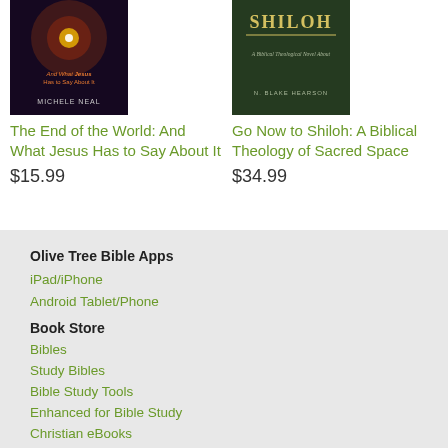[Figure (photo): Book cover: The End of the World: And What Jesus Has to Say About It by Michele Neal, dark cosmic background]
The End of the World: And What Jesus Has to Say About It
$15.99
[Figure (photo): Book cover: Go Now to Shiloh: A Biblical Theology of Sacred Space by N. Blake Hearson, dark green background]
Go Now to Shiloh: A Biblical Theology of Sacred Space
$34.99
Olive Tree Bible Apps
iPad/iPhone
Android Tablet/Phone
Book Store
Bibles
Study Bibles
Bible Study Tools
Enhanced for Bible Study
Christian eBooks
Free Downloads
Olive Tree Rewards